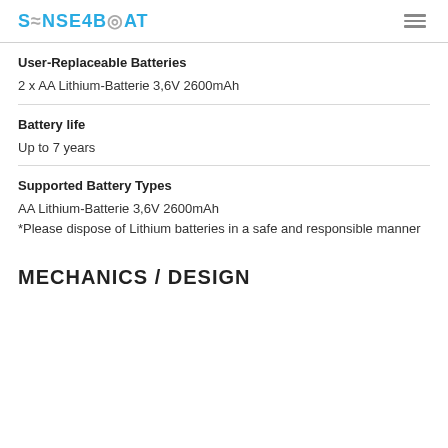SENSE4BOAT
User-Replaceable Batteries
2 x AA Lithium-Batterie 3,6V 2600mAh
Battery life
Up to 7 years
Supported Battery Types
AA Lithium-Batterie 3,6V 2600mAh
*Please dispose of Lithium batteries in a safe and responsible manner
MECHANICS / DESIGN